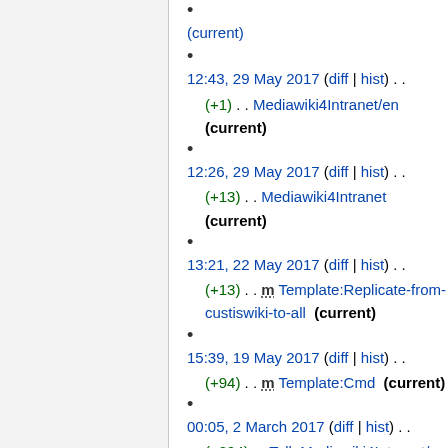12:43, 29 May 2017 (diff | hist) . . (+1) . . Mediawiki4Intranet/en (current)
12:26, 29 May 2017 (diff | hist) . . (+13) . . Mediawiki4Intranet (current)
13:21, 22 May 2017 (diff | hist) . . (+13) . . m Template:Replicate-from-custiswiki-to-all (current)
15:39, 19 May 2017 (diff | hist) . . (+94) . . m Template:Cmd (current)
00:05, 2 March 2017 (diff | hist) . . (+294) . . Talk:Mediawiki4Intranet/en (current)
18:51, 7 February 2017 (diff | hist) . . (0) . . N File:06c7824083211aa33673011a503a0... (current)
15:29, 20 January 2017 (diff | hist) . .